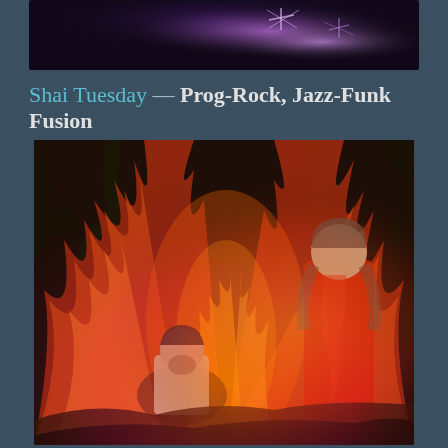[Figure (photo): Top banner image with purple/violet light effect on dark background, partially visible at top of page]
Shai Tuesday — Prog-Rock, Jazz-Funk Fusion
[Figure (illustration): Artistic photo-illustration of two people (one seated, one standing) surrounded by stylized flames and fire in red, orange and yellow tones, set against a dark autumnal background. Painterly, digital art style.]